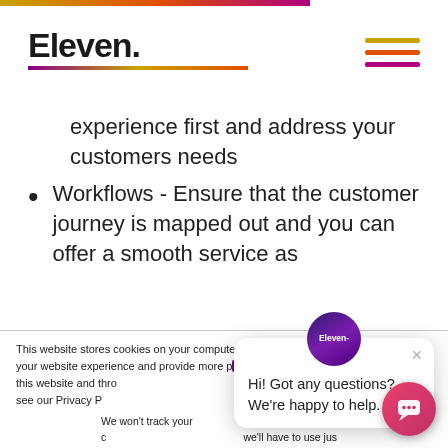[Figure (logo): Eleven. logo with gradient underline and hamburger menu icon]
experience first and address your customers needs
Workflows - Ensure that the customer journey is mapped out and you can offer a smooth service as
This website stores cookies on your computer. These cookies are used to improve your website experience and provide more personalized services to you, both on this website and through other media. To find out more about the cookies we use, see our Privacy Policy.
We won't track your information when you visit our site. But in order to comply with your preferences, we'll have to use just one tiny cookie so that you're not asked to make this choice again.
Hi! Got any questions? We're happy to help.